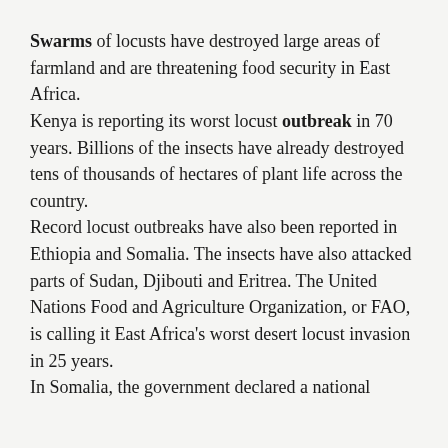Swarms of locusts have destroyed large areas of farmland and are threatening food security in East Africa.
Kenya is reporting its worst locust outbreak in 70 years. Billions of the insects have already destroyed tens of thousands of hectares of plant life across the country.
Record locust outbreaks have also been reported in Ethiopia and Somalia. The insects have also attacked parts of Sudan, Djibouti and Eritrea. The United Nations Food and Agriculture Organization, or FAO, is calling it East Africa's worst desert locust invasion in 25 years.
In Somalia, the government declared a national emergency because of locusts. It said the country had...